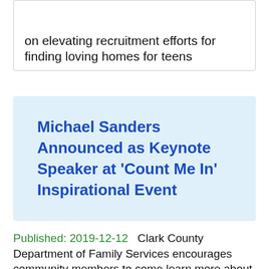on elevating recruitment efforts for finding loving homes for teens
Michael Sanders Announced as Keynote Speaker at 'Count Me In' Inspirational Event
Published: 2019-12-12   Clark County Department of Family Services encourages community members to come learn more about the many opportunities available to support foster youth and their families.